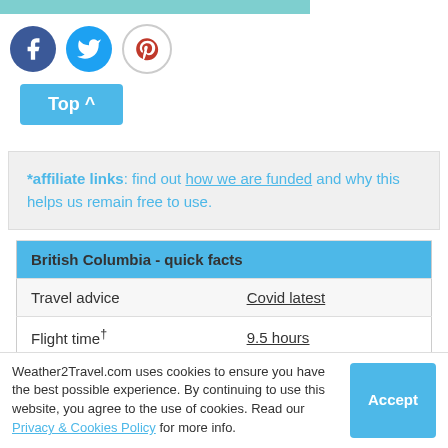[Figure (other): Teal/cyan horizontal bar at top of page]
[Figure (other): Social media icons: Facebook (blue circle), Twitter (cyan circle), Pinterest (white circle with red P)]
Top ^
*affiliate links: find out how we are funded and why this helps us remain free to use.
| British Columbia - quick facts |  |
| --- | --- |
| Travel advice | Covid latest |
| Flight time† | 9.5 hours |
| UK time (GMT) | -7 to -8 hours |
| Language(s) | English, French |
Weather2Travel.com uses cookies to ensure you have the best possible experience. By continuing to use this website, you agree to the use of cookies. Read our Privacy & Cookies Policy for more info.